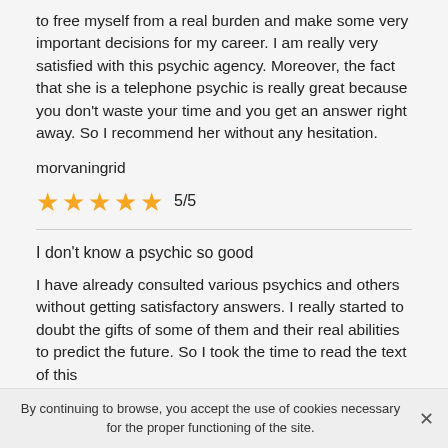to free myself from a real burden and make some very important decisions for my career. I am really very satisfied with this psychic agency. Moreover, the fact that she is a telephone psychic is really great because you don't waste your time and you get an answer right away. So I recommend her without any hesitation.
morvaningrid
[Figure (other): 5 gold stars rating with text 5/5]
I don't know a psychic so good
I have already consulted various psychics and others without getting satisfactory answers. I really started to doubt the gifts of some of them and their real abilities to predict the future. So I took the time to read the text of this
By continuing to browse, you accept the use of cookies necessary for the proper functioning of the site.